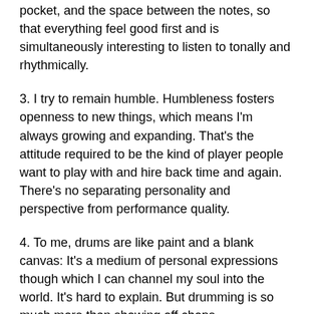pocket, and the space between the notes, so that everything feel good first and is simultaneously interesting to listen to tonally and rhythmically.
3. I try to remain humble. Humbleness fosters openness to new things, which means I'm always growing and expanding. That's the attitude required to be the kind of player people want to play with and hire back time and again. There's no separating personality and perspective from performance quality.
4. To me, drums are like paint and a blank canvas: It's a medium of personal expressions though which I can channel my soul into the world. It's hard to explain. But drumming is so much more than showing off chops.
For more on Matthew Antolick and The OaKs, go to www.myspace.com/antolickdrum or www.myspace.com/wearetheoaks.